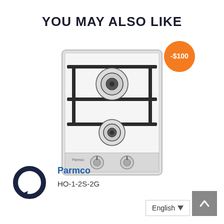YOU MAY ALSO LIKE
[Figure (photo): Orange circular discount badge showing -$100]
[Figure (photo): Parmco two-burner stainless steel gas cooktop hob HO-1-2S-2G with two control knobs]
[Figure (logo): Parmco circular logo in dark navy blue]
Parmco
HO-1-2S-2G
[Figure (other): English language selector button with dropdown arrow]
[Figure (other): Scroll to top arrow button in grey]